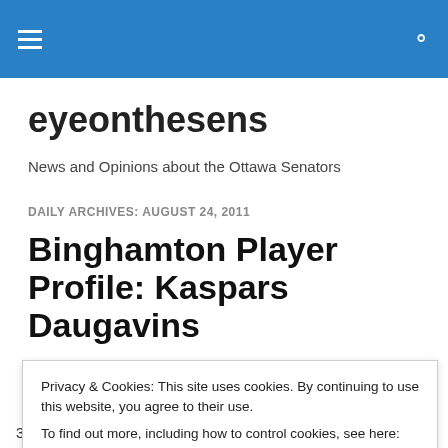eyeonthesens — Navigation and Search bar
eyeonthesens
News and Opinions about the Ottawa Senators
DAILY ARCHIVES: AUGUST 24, 2011
Binghamton Player Profile: Kaspars Daugavins
Privacy & Cookies: This site uses cookies. By continuing to use this website, you agree to their use.
To find out more, including how to control cookies, see here: Cookie Policy
3-91 2006 (Muckler), 6'0, Shoots L, YOB 1988, Riga, LAT